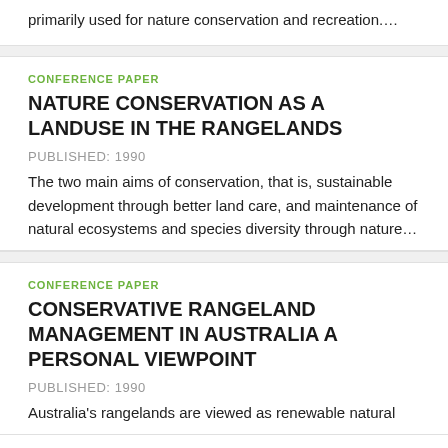primarily used for nature conservation and recreation….
CONFERENCE PAPER
NATURE CONSERVATION AS A LANDUSE IN THE RANGELANDS
PUBLISHED: 1990
The two main aims of conservation, that is, sustainable development through better land care, and maintenance of natural ecosystems and species diversity through nature…
CONFERENCE PAPER
CONSERVATIVE RANGELAND MANAGEMENT IN AUSTRALIA A PERSONAL VIEWPOINT
PUBLISHED: 1990
Australia's rangelands are viewed as renewable natural resources which have the most productive land use as…